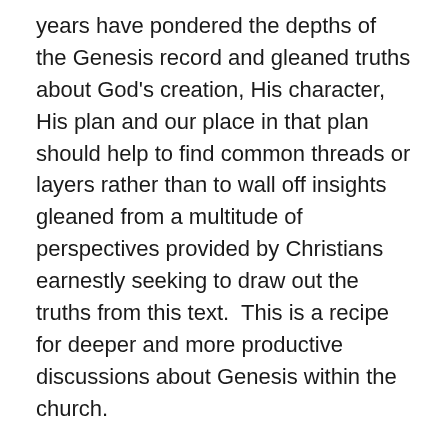years have pondered the depths of the Genesis record and gleaned truths about God's creation, His character, His plan and our place in that plan should help to find common threads or layers rather than to wall off insights gleaned from a multitude of perspectives provided by Christians earnestly seeking to draw out the truths from this text.  This is a recipe for deeper and more productive discussions about Genesis within the church.
Lastly, I need to disclose that I know both of the authors of this work and Gregg Davidson in particular having presented alongside him at workshops and authored chapters in another book that he edited (The Grand Canyon: Monument to an Ancient Earth). The book discussed in this review includes a dedication to